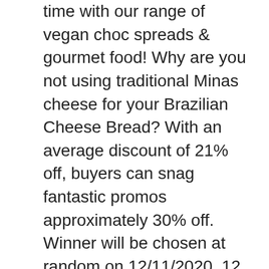time with our range of vegan choc spreads & gourmet food! Why are you not using traditional Minas cheese for your Brazilian Cheese Bread? With an average discount of 21% off, buyers can snag fantastic promos approximately 30% off. Winner will be chosen at random on 12/11/2020. 12. It's only been a few months the couple team behind Brazi Bites was able to make a Shark Tank deal with the Queen of QVC. Brazi Bites; Goya; PAMISO; Prepworks from Progressive; Price. 3. brazibites.com détecter si elle est une arnaque, frauduleuse ou est infectés par des malwares, le … Toll Free from US: 1-866-545-5878. How are your products sold? Winner will be chosen at … If you're a garlic bread fan, wait